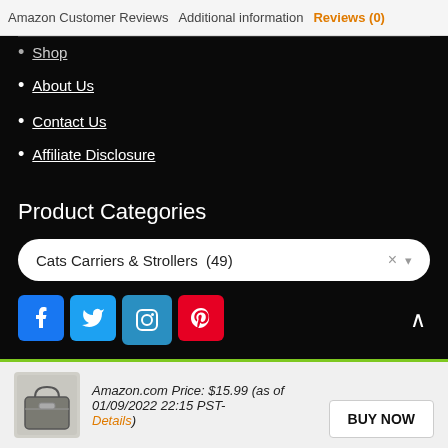Amazon Customer Reviews  Additional information  Reviews (0)
Shop
About Us
Contact Us
Affiliate Disclosure
Product Categories
Cats Carriers & Strollers  (49)
[Figure (infographic): Social media icons: Facebook, Twitter, Instagram, Pinterest]
Amazon.com Price: $15.99 (as of 01/09/2022 22:15 PST- Details)